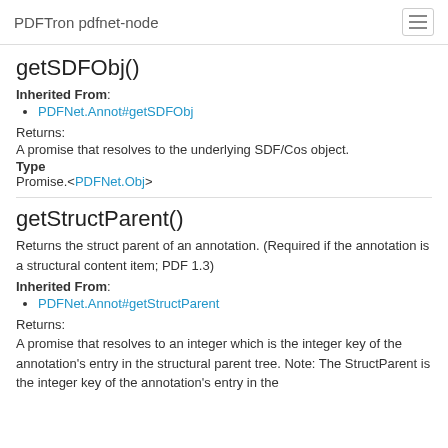PDFTron pdfnet-node
getSDFObj()
Inherited From:
PDFNet.Annot#getSDFObj
Returns:
A promise that resolves to the underlying SDF/Cos object.
Type
Promise.<PDFNet.Obj>
getStructParent()
Returns the struct parent of an annotation. (Required if the annotation is a structural content item; PDF 1.3)
Inherited From:
PDFNet.Annot#getStructParent
Returns:
A promise that resolves to an integer which is the integer key of the annotation's entry in the structural parent tree. Note: The StructParent is the integer key of the annotation's entry in the